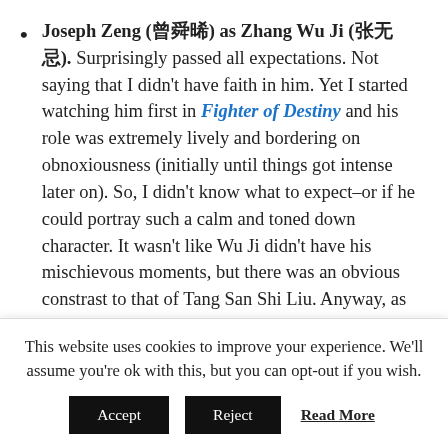Joseph Zeng (曾舜晞) as Zhang Wu Ji (张无忌). Surprisingly passed all expectations. Not saying that I didn't have faith in him. Yet I started watching him first in Fighter of Destiny and his role was extremely lively and bordering on obnoxiousness (initially until things got intense later on). So, I didn't know what to expect–or if he could portray such a calm and toned down character. It wasn't like Wu Ji didn't have his mischievous moments, but there was an obvious constrast to that of Tang San Shi Liu. Anyway, as Wu Ji, Joseph brought out the character quite well and made it his own in this adaptation. I
This website uses cookies to improve your experience. We'll assume you're ok with this, but you can opt-out if you wish.